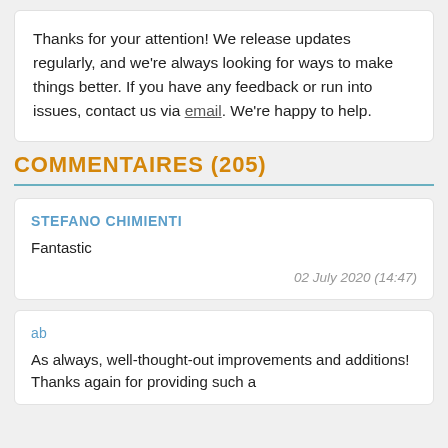Thanks for your attention! We release updates regularly, and we're always looking for ways to make things better. If you have any feedback or run into issues, contact us via email. We're happy to help.
COMMENTAIRES (205)
STEFANO CHIMIENTI
Fantastic
02 July 2020 (14:47)
ab
As always, well-thought-out improvements and additions! Thanks again for providing such a